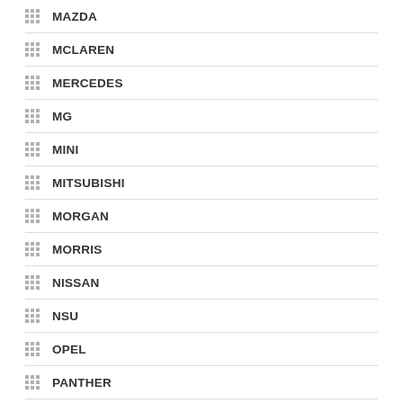MAZDA
MCLAREN
MERCEDES
MG
MINI
MITSUBISHI
MORGAN
MORRIS
NISSAN
NSU
OPEL
PANTHER